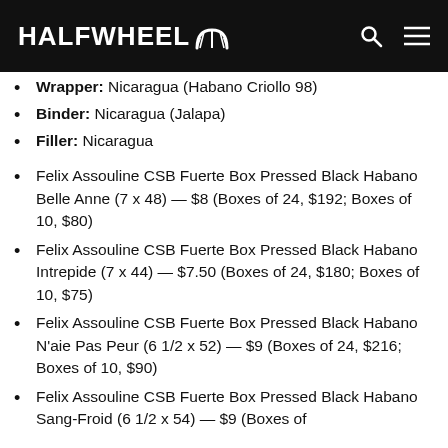HALFWHEEL
Wrapper: Nicaragua (Habano Criollo 98)
Binder: Nicaragua (Jalapa)
Filler: Nicaragua
Felix Assouline CSB Fuerte Box Pressed Black Habano Belle Anne (7 x 48) — $8 (Boxes of 24, $192; Boxes of 10, $80)
Felix Assouline CSB Fuerte Box Pressed Black Habano Intrepide (7 x 44) — $7.50 (Boxes of 24, $180; Boxes of 10, $75)
Felix Assouline CSB Fuerte Box Pressed Black Habano N'aie Pas Peur (6 1/2 x 52) — $9 (Boxes of 24, $216; Boxes of 10, $90)
Felix Assouline CSB Fuerte Box Pressed Black Habano Sang-Froid (6 1/2 x 54) — $9 (Boxes of